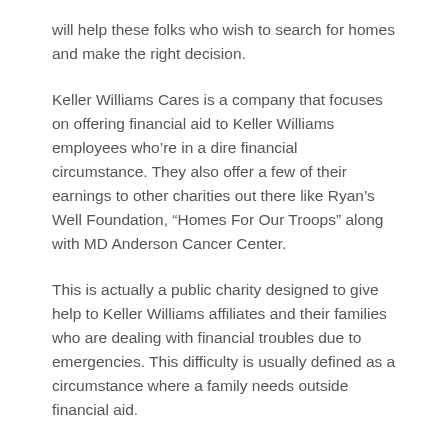will help these folks who wish to search for homes and make the right decision.
Keller Williams Cares is a company that focuses on offering financial aid to Keller Williams employees who're in a dire financial circumstance. They also offer a few of their earnings to other charities out there like Ryan's Well Foundation, “Homes For Our Troops” along with MD Anderson Cancer Center.
This is actually a public charity designed to give help to Keller Williams affiliates and their families who are dealing with financial troubles due to emergencies. This difficulty is usually defined as a circumstance where a family needs outside financial aid.
This collaboration has given the charity more assistance to offer financial assistance to other people. Alternatively, this has permitted Liberty Lending to increase their help beyond